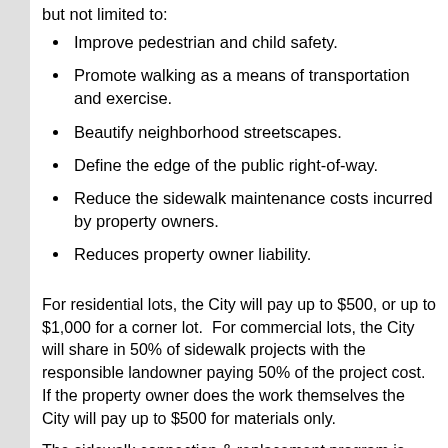but not limited to:
Improve pedestrian and child safety.
Promote walking as a means of transportation and exercise.
Beautify neighborhood streetscapes.
Define the edge of the public right-of-way.
Reduce the sidewalk maintenance costs incurred by property owners.
Reduces property owner liability.
For residential lots, the City will pay up to $500, or up to $1,000 for a corner lot.  For commercial lots, the City will share in 50% of sidewalk projects with the responsible landowner paying 50% of the project cost. If the property owner does the work themselves the City will pay up to $500 for materials only.
The sidewalk connection & replacement program is available for applications at any time. If funds are not immediately available, your application will be placed on a waiting list until funding is available. The waiting list is